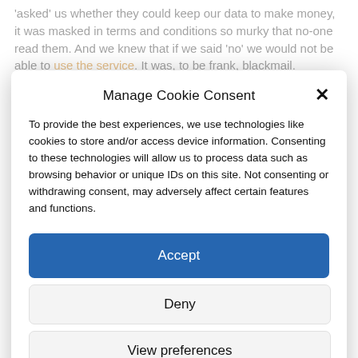'asked' us whether they could keep our data to make money, it was masked in terms and conditions so murky that no-one read them. And we knew that if we said 'no' we would not be able to use the service. It was, to be frank, blackmail.
Manage Cookie Consent
To provide the best experiences, we use technologies like cookies to store and/or access device information. Consenting to these technologies will allow us to process data such as browsing behavior or unique IDs on this site. Not consenting or withdrawing consent, may adversely affect certain features and functions.
Accept
Deny
View preferences
Terms and Conditions of Service   Privacy Policy